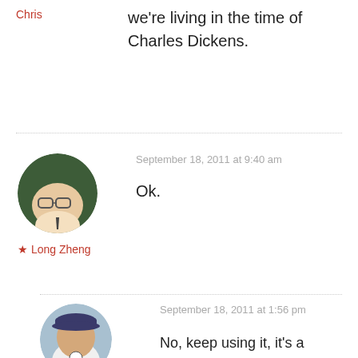Chris
we're living in the time of Charles Dickens.
September 18, 2011 at 9:40 am
Ok.
★ Long Zheng
September 18, 2011 at 1:56 pm
No, keep using it, it's a 'Long-ism.' It's how I know you've written something and part of your style.
Suril